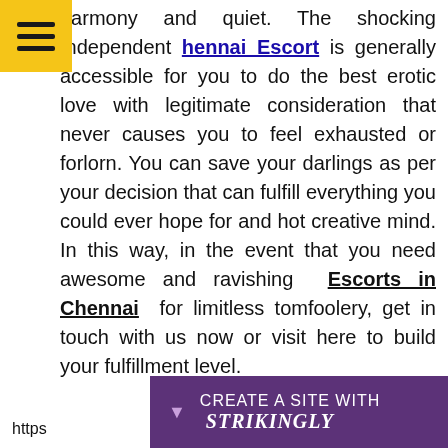harmony and quiet. The shocking Independent Chennai Escort is generally accessible for you to do the best erotic love with legitimate consideration that never causes you to feel exhausted or forlorn. You can save your darlings as per your decision that can fulfill everything you could ever hope for and hot creative mind. In this way, in the event that you need awesome and ravishing Escorts in Chennai for limitless tomfoolery, get in touch with us now or visit here to build your fulfillment level.
[Figure (screenshot): Strikingly website builder promotional bar at the bottom with purple background, a downward arrow icon, and text 'CREATE A SITE WITH strikingly']
https